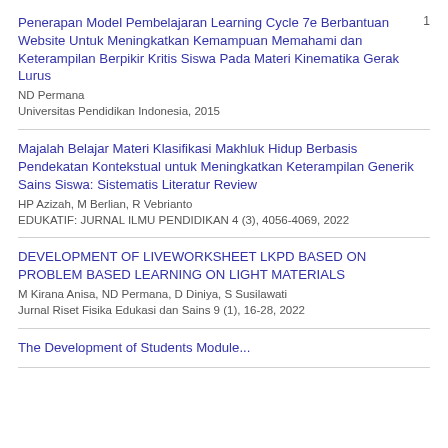Penerapan Model Pembelajaran Learning Cycle 7e Berbantuan Website Untuk Meningkatkan Kemampuan Memahami dan Keterampilan Berpikir Kritis Siswa Pada Materi Kinematika Gerak Lurus
ND Permana
Universitas Pendidikan Indonesia, 2015
1
Majalah Belajar Materi Klasifikasi Makhluk Hidup Berbasis Pendekatan Kontekstual untuk Meningkatkan Keterampilan Generik Sains Siswa: Sistematis Literatur Review
HP Azizah, M Berlian, R Vebrianto
EDUKATIF: JURNAL ILMU PENDIDIKAN 4 (3), 4056-4069, 2022
DEVELOPMENT OF LIVEWORKSHEET LKPD BASED ON PROBLEM BASED LEARNING ON LIGHT MATERIALS
M Kirana Anisa, ND Permana, D Diniya, S Susilawati
Jurnal Riset Fisika Edukasi dan Sains 9 (1), 16-28, 2022
The Development of Students Module...